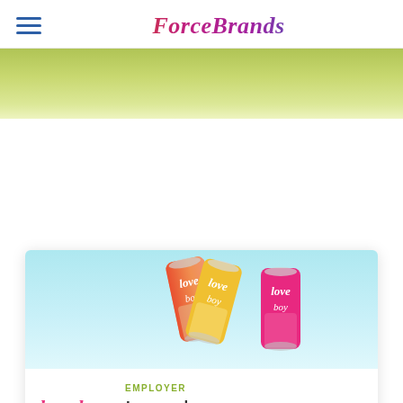ForceBrands
[Figure (photo): Green gradient banner/ribbon at top of page]
[Figure (photo): Photo of three colorful Loverboy branded beverage cans (orange, yellow, pink/magenta) against a light blue background]
EMPLOYER
Loverboy
INDUSTRY
Supplier